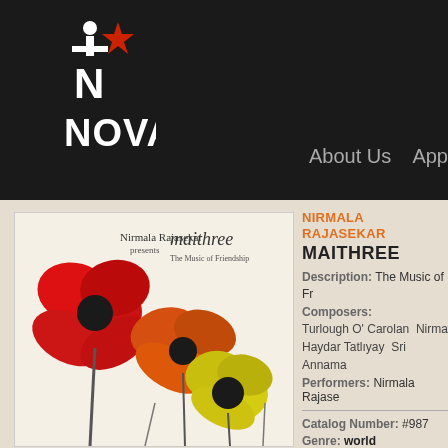[Figure (logo): Innova Records logo — stylized N with a red star above, text NOVA below, white on dark background]
About Us  App
[Figure (photo): Album cover for Maithree by Nirmala Rajasekar — colorful painted flowers (red, orange, yellow) on light background with cursive 'maithree The Music of Friendship' text]
VIEW COVER / VIEW TRAY
ADD TO CART
NIRMALA RAJASEKAR
MAITHREE
Description: The Music of Fr
Composers:
Turlough O' Carolan  Nirma Haydar Tatlıyay  Sri Annama
Performers: Nirmala Rajase
Catalog Number: #987
Genre: world
Collection:
India  cello  percussion  Tu fusion  music for dance soundtrack  women